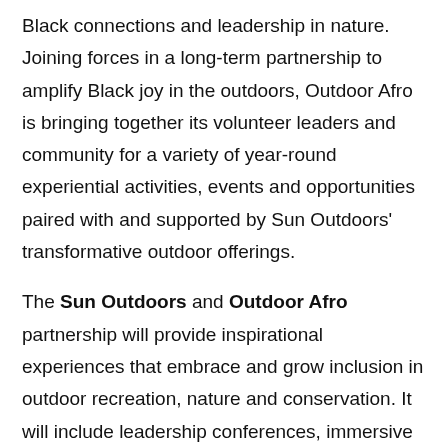Black connections and leadership in nature. Joining forces in a long-term partnership to amplify Black joy in the outdoors, Outdoor Afro is bringing together its volunteer leaders and community for a variety of year-round experiential activities, events and opportunities paired with and supported by Sun Outdoors' transformative outdoor offerings.
The Sun Outdoors and Outdoor Afro partnership will provide inspirational experiences that embrace and grow inclusion in outdoor recreation, nature and conservation. It will include leadership conferences, immersive Q&As and fundraising events. The partnership will officially kick off with Outdoor Afro's 2022 Leadership Training at Sun Outdoors River Run RV Resort in Granby, Colorado in April.